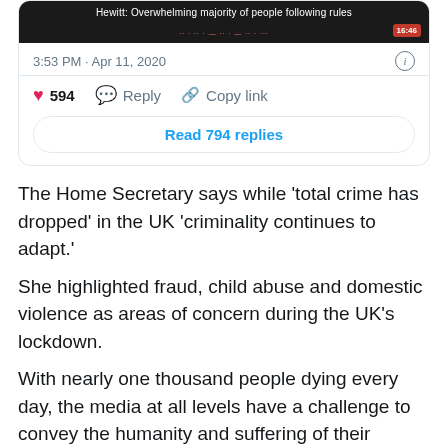[Figure (screenshot): Tweet card showing video thumbnail with title 'Hewitt: Overwhelming majority of people following rules', timestamp 3:53 PM · Apr 11, 2020, with 594 likes, Reply button, Copy link button, and Read 794 replies button.]
The Home Secretary says while ‘total crime has dropped’ in the UK ‘criminality continues to adapt.’
She highlighted fraud, child abuse and domestic violence as areas of concern during the UK’s lockdown.
With nearly one thousand people dying every day, the media at all levels have a challenge to convey the humanity and suffering of their grieving families and measure in some way the impact of their loss on society.